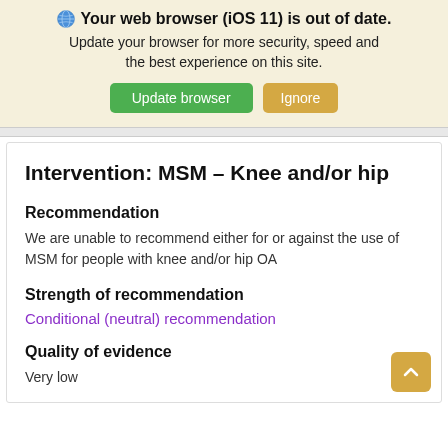Your web browser (iOS 11) is out of date. Update your browser for more security, speed and the best experience on this site.
Intervention: MSM – Knee and/or hip
Recommendation
We are unable to recommend either for or against the use of MSM for people with knee and/or hip OA
Strength of recommendation
Conditional (neutral) recommendation
Quality of evidence
Very low